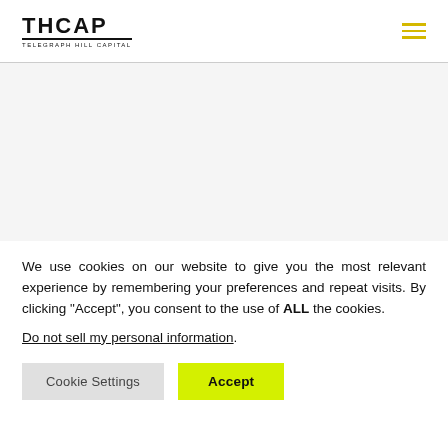THCAP TELEGRAPH HILL CAPITAL
We use cookies on our website to give you the most relevant experience by remembering your preferences and repeat visits. By clicking “Accept”, you consent to the use of ALL the cookies.
Do not sell my personal information.
Cookie Settings | Accept